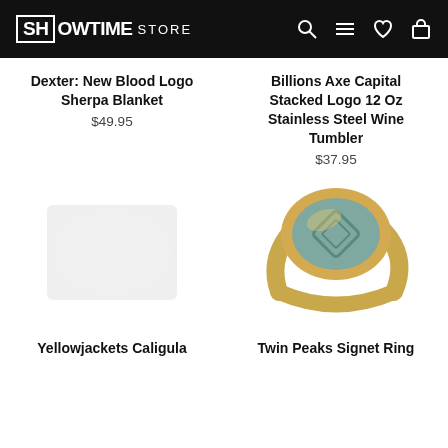SHOWTIME STORE
Dexter: New Blood Logo Sherpa Blanket
$49.95
Billions Axe Capital Stacked Logo 12 Oz Stainless Steel Wine Tumbler
$37.95
[Figure (photo): Dexter New Blood Logo Sherpa Blanket product image]
[Figure (photo): Twin Peaks Signet Ring gold with teal oval face showing diamond logo]
Yellowjackets Caligula
Twin Peaks Signet Ring